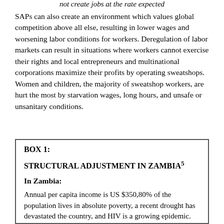not create jobs at the rate expected
SAPs can also create an environment which values global competition above all else, resulting in lower wages and worsening labor conditions for workers. Deregulation of labor markets can result in situations where workers cannot exercise their rights and local entrepreneurs and multinational corporations maximize their profits by operating sweatshops. Women and children, the majority of sweatshop workers, are hurt the most by starvation wages, long hours, and unsafe or unsanitary conditions.
BOX 1:
STRUCTURAL ADJUSTMENT IN ZAMBIA⁵
In Zambia:
Annual per capita income is US $350,80% of the population lives in absolute poverty, a recent drought has devastated the country, and HIV is a growing epidemic.